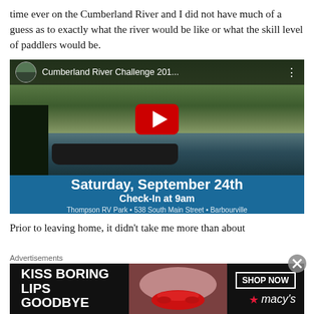time ever on the Cumberland River and I did not have much of a guess as to exactly what the river would be like or what the skill level of paddlers would be.
[Figure (screenshot): YouTube video thumbnail for Cumberland River Challenge 201... showing people paddling a boat on the river. Bottom overlay shows Saturday, September 24th, Check-In at 9am, Thompson RV Park • 538 South Main Street • Barbourville]
Prior to leaving home, it didn't take me more than about
Advertisements
[Figure (photo): Macy's advertisement banner: KISS BORING LIPS GOODBYE with woman's red lips photo, SHOP NOW button and Macy's star logo]